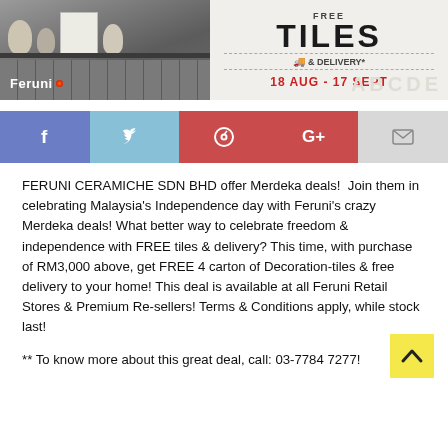[Figure (photo): Feruni Ceramiche promotional banner showing free tiles and delivery offer from 18 Aug to 17 Sept, with furniture/tile imagery on the left and bold typography on the right.]
[Figure (infographic): Social sharing buttons row: Facebook (blue), Twitter (light blue), Pinterest (red), Google+ (red), Email (grey)]
FERUNI CERAMICHE SDN BHD offer Merdeka deals!  Join them in celebrating Malaysia's Independence day with Feruni's crazy Merdeka deals! What better way to celebrate freedom & independence with FREE tiles & delivery? This time, with purchase of RM3,000 above, get FREE 4 carton of Decoration-tiles & free delivery to your home! This deal is available at all Feruni Retail Stores & Premium Re-sellers! Terms & Conditions apply, while stock last!
** To know more about this great deal, call: 03-7784 7277!